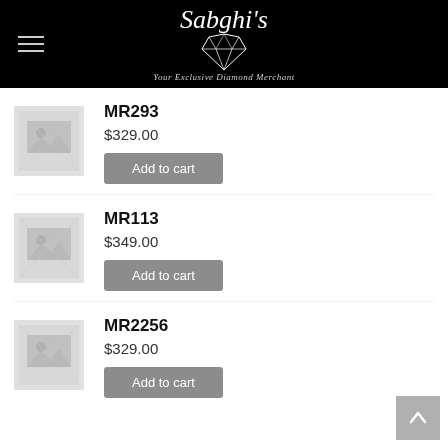Sabghi's – Your Exclusive Diamond Merchant
[Figure (photo): Placeholder image for product MR293]
MR293
$329.00
Add to cart
[Figure (photo): Placeholder image for product MR113]
MR113
$349.00
Add to cart
[Figure (photo): Placeholder image for product MR2256]
MR2256
$329.00
Add to cart